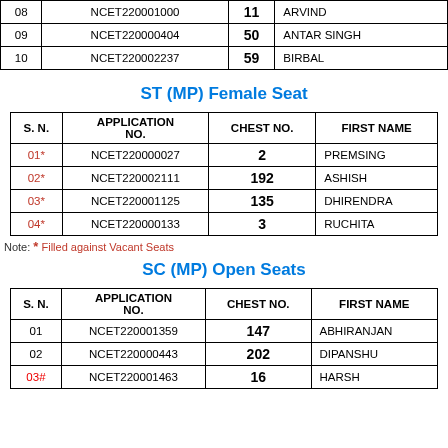| S. N. | APPLICATION NO. | CHEST NO. | FIRST NAME |
| --- | --- | --- | --- |
| 08 | NCET220001000 | 11 | ARVIND |
| 09 | NCET220000404 | 50 | ANTAR SINGH |
| 10 | NCET220002237 | 59 | BIRBAL |
ST (MP) Female Seat
| S. N. | APPLICATION NO. | CHEST NO. | FIRST NAME |
| --- | --- | --- | --- |
| 01* | NCET220000027 | 2 | PREMSING |
| 02* | NCET220002111 | 192 | ASHISH |
| 03* | NCET220001125 | 135 | DHIRENDRA |
| 04* | NCET220000133 | 3 | RUCHITA |
Note: * Filled against Vacant Seats
SC (MP) Open Seats
| S. N. | APPLICATION NO. | CHEST NO. | FIRST NAME |
| --- | --- | --- | --- |
| 01 | NCET220001359 | 147 | ABHIRANJAN |
| 02 | NCET220000443 | 202 | DIPANSHU |
| 03# | NCET220001463 | 16 | HARSH |